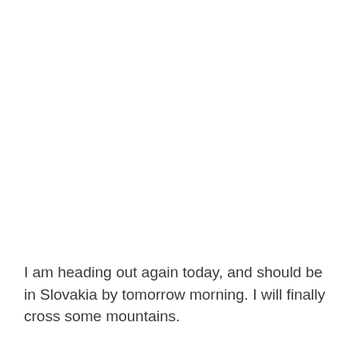I am heading out again today, and should be in Slovakia by tomorrow morning. I will finally cross some mountains.